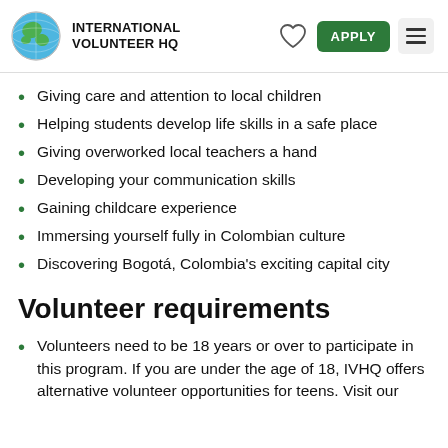INTERNATIONAL VOLUNTEER HQ
Giving care and attention to local children
Helping students develop life skills in a safe place
Giving overworked local teachers a hand
Developing your communication skills
Gaining childcare experience
Immersing yourself fully in Colombian culture
Discovering Bogotá, Colombia's exciting capital city
Volunteer requirements
Volunteers need to be 18 years or over to participate in this program. If you are under the age of 18, IVHQ offers alternative volunteer opportunities for teens. Visit our